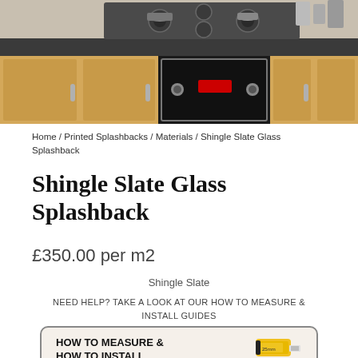[Figure (photo): Kitchen photo showing wooden cabinets with dark stone countertop, gas hob on top, and built-in oven below]
Home / Printed Splashbacks / Materials / Shingle Slate Glass Splashback
Shingle Slate Glass Splashback
£350.00 per m2
Shingle Slate
NEED HELP? TAKE A LOOK AT OUR HOW TO MEASURE & INSTALL GUIDES
[Figure (infographic): Banner with text HOW TO MEASURE & HOW TO INSTALL with a tape measure image on the right]